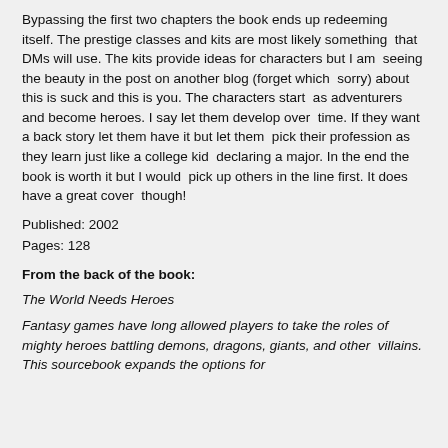Bypassing the first two chapters the book ends up redeeming itself. The prestige classes and kits are most likely something that DMs will use. The kits provide ideas for characters but I am seeing the beauty in the post on another blog (forget which sorry) about this is suck and this is you. The characters start as adventurers and become heroes. I say let them develop over time. If they want a back story let them have it but let them pick their profession as they learn just like a college kid declaring a major. In the end the book is worth it but I would pick up others in the line first. It does have a great cover though!
Published: 2002
Pages: 128
From the back of the book:
The World Needs Heroes
Fantasy games have long allowed players to take the roles of mighty heroes battling demons, dragons, giants, and other villains. This sourcebook expands the options for